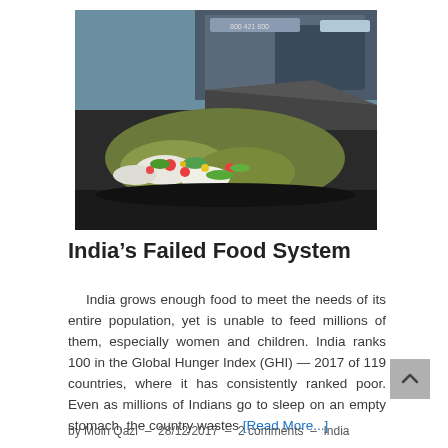[Figure (photo): A truck dumping a large pile of food waste/garbage onto a dark surface outdoors.]
India’s Failed Food System
India grows enough food to meet the needs of its entire population, yet is unable to feed millions of them, especially women and children. India ranks 100 in the Global Hunger Index (GHI) — 2017 of 119 countries, where it has consistently ranked poor. Even as millions of Indians go to sleep on an empty stomach, the country wastes [Read More...]
by Moin Qazi – 28/12/2017 – 2 comments – India